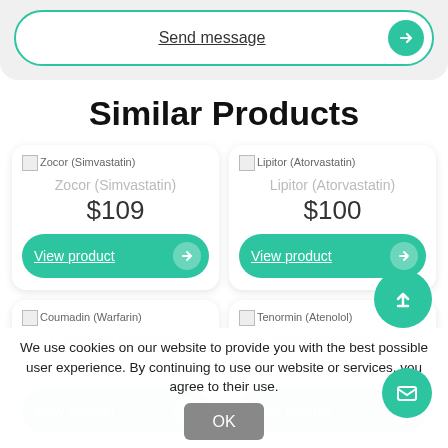Send message
Similar Products
Zocor (Simvastatin)
$109
View product
Lipitor (Atorvastatin)
$100
View product
Coumadin (Warfarin)
View product
Tenormin (Atenolol)
View product
We use cookies on our website to provide you with the best possible user experience. By continuing to use our website or services, you agree to their use.
OK